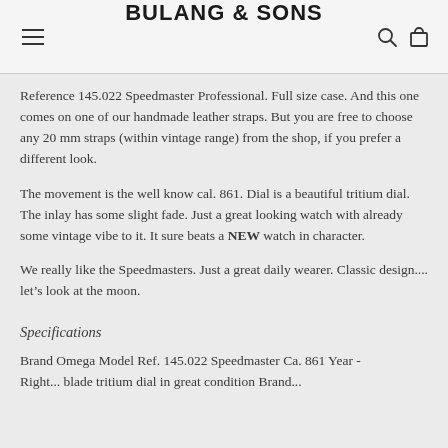BULANG & SONS
Reference 145.022 Speedmaster Professional. Full size case. And this one comes on one of our handmade leather straps. But you are free to choose any 20 mm straps (within vintage range) from the shop, if you prefer a different look.
The movement is the well know cal. 861. Dial is a beautiful tritium dial. The inlay has some slight fade. Just a great looking watch with already some vintage vibe to it. It sure beats a NEW watch in character.
We really like the Speedmasters. Just a great daily wearer. Classic design.... let’s look at the moon.
Specifications
Brand Omega Model Ref. 145.022 Speedmaster Ca. 861 Year - Right... blade tritium dial in great condition Brand...